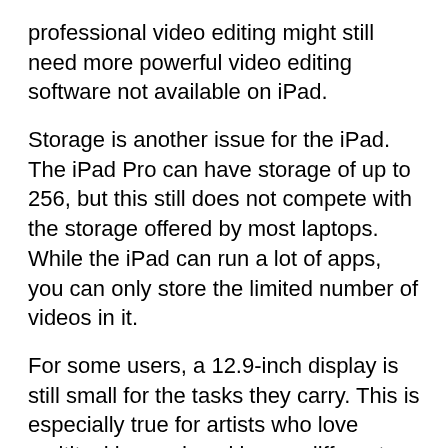professional video editing might still need more powerful video editing software not available on iPad.
Storage is another issue for the iPad. The iPad Pro can have storage of up to 256, but this still does not compete with the storage offered by most laptops. While the iPad can run a lot of apps, you can only store the limited number of videos in it.
For some users, a 12.9-inch display is still small for the tasks they carry. This is especially true for artists who love multitasking and working on different screens.
Figure out whether you need to replace your computer